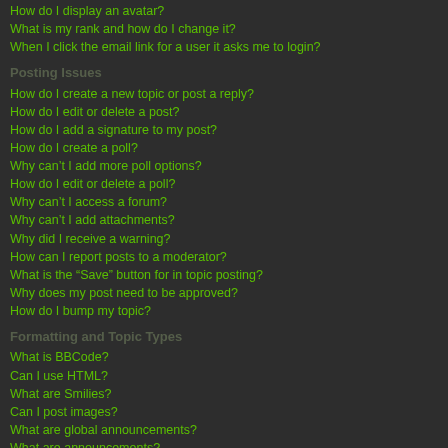How do I display an avatar?
What is my rank and how do I change it?
When I click the email link for a user it asks me to login?
Posting Issues
How do I create a new topic or post a reply?
How do I edit or delete a post?
How do I add a signature to my post?
How do I create a poll?
Why can't I add more poll options?
How do I edit or delete a poll?
Why can't I access a forum?
Why can't I add attachments?
Why did I receive a warning?
How can I report posts to a moderator?
What is the “Save” button for in topic posting?
Why does my post need to be approved?
How do I bump my topic?
Formatting and Topic Types
What is BBCode?
Can I use HTML?
What are Smilies?
Can I post images?
What are global announcements?
What are announcements?
What are sticky topics?
What are locked topics?